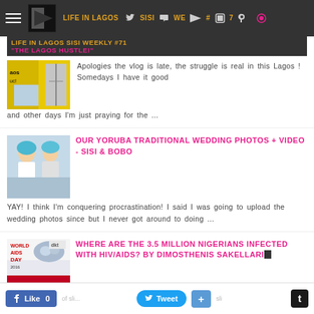LIFE IN LAGOS SISI WEEKLY #71 "THE LAGOS HUSTLE!"
[Figure (screenshot): Thumbnail image for Lagos vlog post showing a building/bridge scene with yellow branding]
LIFE IN LAGOS SISI WEEKLY #71 "THE LAGOS HUSTLE!"
Apologies the vlog is late, the struggle is real in this Lagos ! Somedays I have it good and other days I'm just praying for the ...
[Figure (photo): Thumbnail image for Yoruba traditional wedding post showing couple in traditional attire]
OUR YORUBA TRADITIONAL WEDDING PHOTOS + VIDEO - SISI & BOBO
YAY! I think I'm conquering procrastination! I said I was going to upload the wedding photos since but I never got around to doing ...
[Figure (photo): World AIDS Day thumbnail image]
WHERE ARE THE 3.5 MILLION NIGERIANS INFECTED WITH HIV/AIDS? BY DIMOSTHENIS SAKELLARI...
Like 0   Tweet   +   t